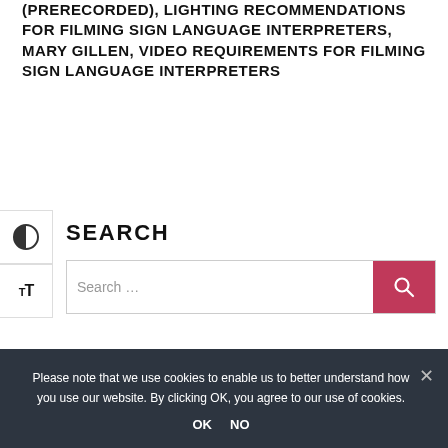(PRERECORDED), LIGHTING RECOMMENDATIONS FOR FILMING SIGN LANGUAGE INTERPRETERS, MARY GILLEN, VIDEO REQUIREMENTS FOR FILMING SIGN LANGUAGE INTERPRETERS
SEARCH
Search …
Please note that we use cookies to enable us to better understand how you use our website. By clicking OK, you agree to our use of cookies.
OK   NO